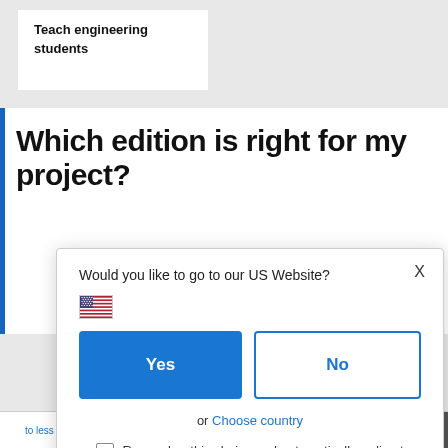Teach engineering students
Which edition is right for my project?
[Figure (screenshot): A modal dialog popup asking 'Would you like to go to our US Website?' with a US flag emoji, a blue 'Yes' button and outlined 'No' button, an 'or Choose country' link, a checkbox for 'Remember this choice and automatically redirect me in the future', and an X close button.]
|  |  |  |  |
| --- | --- | --- | --- |
| to less edit... | One year subscription | Windows ... | COB |